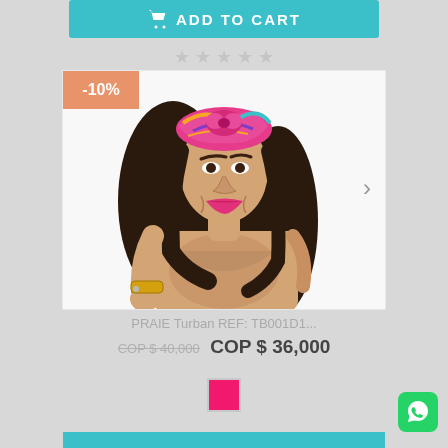[Figure (other): Add to cart button with teal background and shopping cart icon, text: ADD TO CART]
[Figure (other): Five star rating row (empty/gray stars)]
[Figure (photo): Product photo of a woman wearing a colorful turban/headband (PRAIE Turban REF: TB001D1) with a -10% discount badge in the top-left corner and a right navigation arrow]
PRAIE Turban REF: TB001D1...
COP $ 40,000  COP $ 36,000
[Figure (other): Pink/magenta color swatch square]
[Figure (other): WhatsApp green button in bottom right corner]